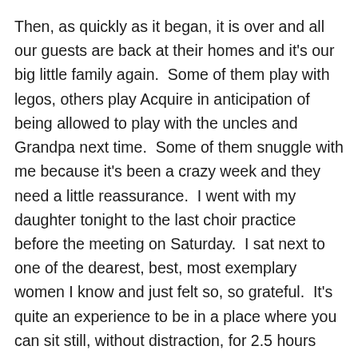Then, as quickly as it began, it is over and all our guests are back at their homes and it's our big little family again.  Some of them play with legos, others play Acquire in anticipation of being allowed to play with the uncles and Grandpa next time.  Some of them snuggle with me because it's been a crazy week and they need a little reassurance.  I went with my daughter tonight to the last choir practice before the meeting on Saturday.  I sat next to one of the dearest, best, most exemplary women I know and just felt so, so grateful.  It's quite an experience to be in a place where you can sit still, without distraction, for 2.5 hours and have gratitude wash over you like waves on the beach.  I am overwhelmed by the goodness of so many parts of our week.  I came home and got down on my knees to thank God for every one of these people who have been a part of my week in small and large ways, to ask for the Lord's blessings to be upon them.  My heart feels so tender, so aware that the hard work is worth it, every bit of it.  I am grateful to be a